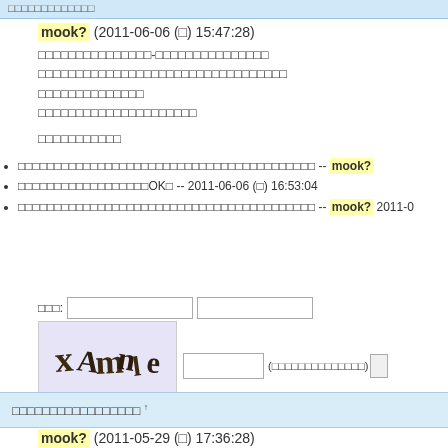□□□□□□□□□□□□□
mook? (2011-06-06 (□) 15:47:28)
□□□□□□□□□□□□□□□-□□□□□□□□□□□□□□□□□□□□□□□□□□□□□□□□□□□□□□□□□□□□□□□□□□□□□□□□□□□□□□□□□□□□□□□□□□□□□□□□□□□□
□□□□□□□□□□□
□□□□□□□□□□□□□□□□□□□□□□□□□□□□□□□□□□□□□□□□□ -- mook?
□□□□□□□□□□□□□□□□□□OK□ -- 2011-06-06 (□) 16:53:04
□□□□□□□□□□□□□□□□□□□□□□□□□□□□□□□□□□□□□□□□□ -- mook? 2011-0
□□: [input] [input]
[Figure (other): CAPTCHA image showing distorted text on lavender background with www.captcha.ru watermark, accompanied by a text input field and parenthetical label]
□□□□□□□□□□□□□□□□□ ↑
mook? (2011-05-29 (□) 17:36:28)
□□□□□□□□□□□□